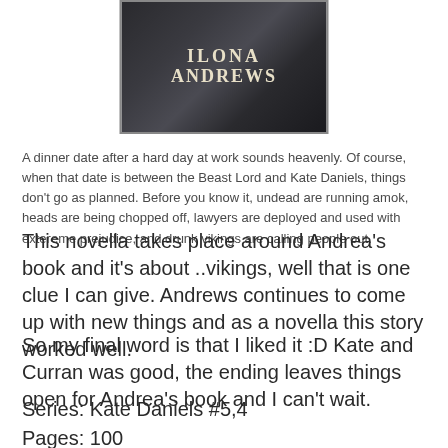[Figure (illustration): Book cover with dark background showing author name ILONA ANDREWS in bold serif font]
A dinner date after a hard day at work sounds heavenly. Of course, when that date is between the Beast Lord and Kate Daniels, things don't go as planned. Before you know it, undead are running amok, heads are being chopped off, lawyers are deployed and used with extereme prejudice, and drunk vikings are calling people out.
This novella takes place around Andrea's book and it's about ..vikings, well that is one clue I can give. Andrews continues to come up with new things and as a novella this story worked well.
So my final word is that I liked it :D Kate and Curran was good, the ending leaves things open for Andrea's book and I can't wait.
Series: Kate Daniels #5,4
Pages: 100
Published: 2011